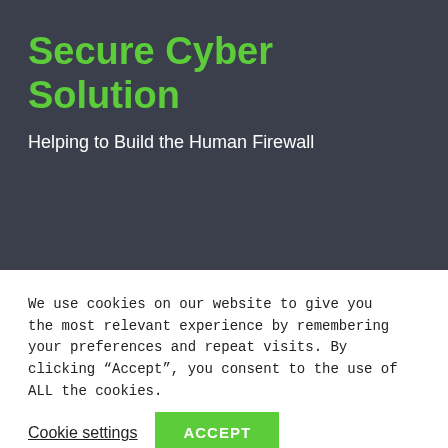Secure Cyber Solution
Helping to Build the Human Firewall
We use cookies on our website to give you the most relevant experience by remembering your preferences and repeat visits. By clicking “Accept”, you consent to the use of ALL the cookies.
Cookie settings
ACCEPT